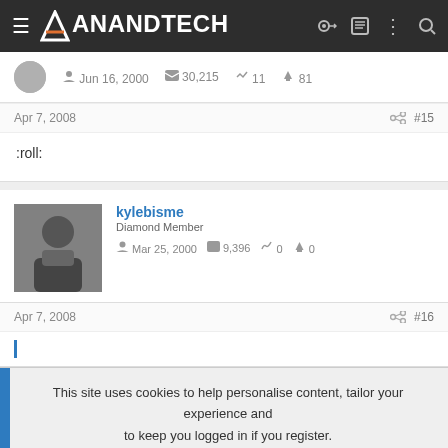AnandTech
Jun 16, 2000   30,215   11   81
Apr 7, 2008  #15
:roll:
kylebisme
Diamond Member
Mar 25, 2000   9,396   0   0
Apr 7, 2008  #16
This site uses cookies to help personalise content, tailor your experience and to keep you logged in if you register. By continuing to use this site, you are consenting to our use of cookies.